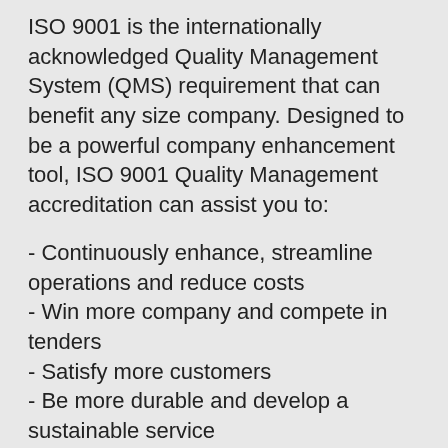ISO 9001 is the internationally acknowledged Quality Management System (QMS) requirement that can benefit any size company. Designed to be a powerful company enhancement tool, ISO 9001 Quality Management accreditation can assist you to:
- Continuously enhance, streamline operations and reduce costs
- Win more company and compete in tenders
- Satisfy more customers
- Be more durable and develop a sustainable service
- Show you have strong business governance
- Work effectively with stakeholders and your supply chain
When you certify to ISO 9001 you will join over a million organizations globally who have enhanced their companies with this management system standard. ISO 9001 is not only recognized globally as the world's most widely embraced Quality Management System (QMS), it's